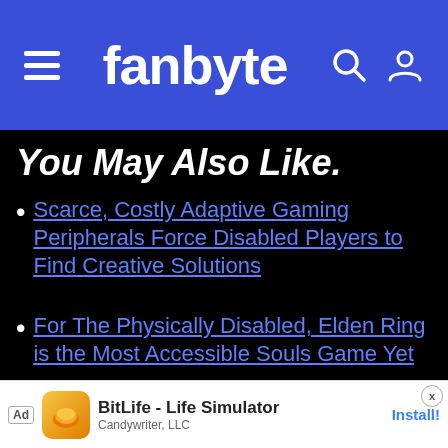fanbyte
You May Also Like.
Scarce, Costly Adaptive Gaming Peripherals Force Disabled Players to Find Creative Solutions
For The Physically Disabled, Elden Ring is the Most Accessible Souls Game Yet
Disabled Players Push for More Inclusion in the Fighting Game Community
[Figure (screenshot): Video player overlay with play icon and dark background]
[Figure (screenshot): Ad banner for BitLife - Life Simulator by Candywriter, LLC with Install button]